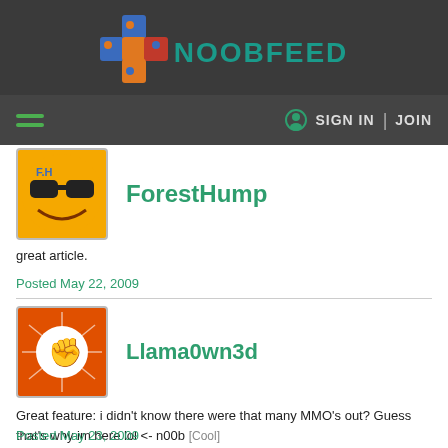NOOBFEED
[Figure (logo): NoobFeed logo with colorful cross/plus icon and NOOBFEED text in teal]
ForestHump
[Figure (photo): ForestHump avatar: yellow smiley face with sunglasses]
great article.
Posted May 22, 2009
[Figure (photo): Llama0wn3d avatar: fist raised on orange background]
Llama0wn3d
Great feature: i didn't know there were that many MMO's out? Guess that's why im here lol <- n00b [Cool]
Posted May 23, 2009